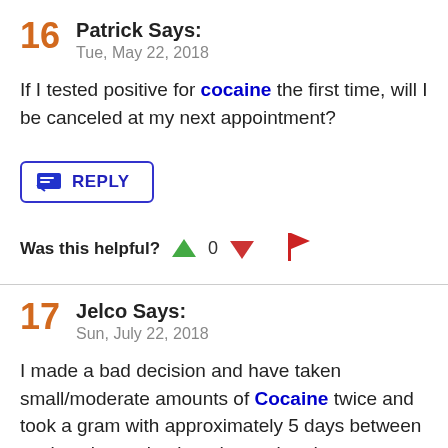16  Patrick Says:
Tue, May 22, 2018
If I tested positive for cocaine the first time, will I be canceled at my next appointment?
REPLY
Was this helpful?  0
17  Jelco Says:
Sun, July 22, 2018
I made a bad decision and have taken small/moderate amounts of Cocaine twice and took a gram with approximately 5 days between my last time using it and my urine drug test. First off, do you think this will show up in my urine? Secondly, if it